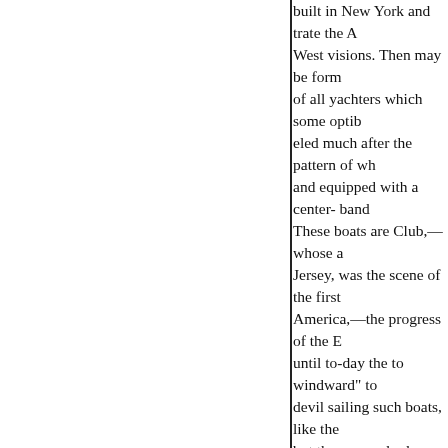built in New York and trate the A West visions. Then may be form of all yachters which some optib eled much after the pattern of wh and equipped with a center- band These boats are Club,— whose a Jersey, was the scene of the first America,—the progress of the E until to-day the to windward" to devil sailing such boats, like the but they scarcely de- interest in t problems of yachting have been

On the Pacific coast, througho board, from the tropical over the Sound, wherever there is a bay t as a vehicle of pleasure. The num have been formed there are all st the lead with two very good club Many of the San Francisco boats smaller craft there is an abundan bottomed sharpie of Long Island has its representatives in the har the favorite above all other